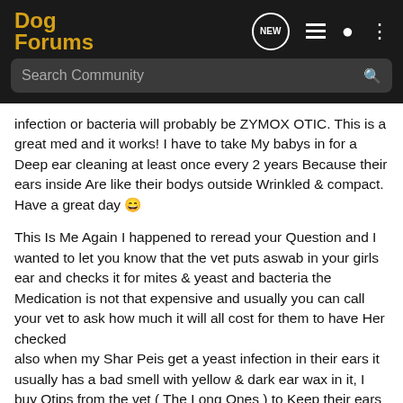[Figure (screenshot): Dog Forums mobile app navigation bar with logo, NEW chat bubble icon, list icon, person icon, and three-dot menu icon on dark background, with a Search Community search bar below]
infection or bacteria will probably be ZYMOX OTIC. This is a great med and it works! I have to take My babys in for a Deep ear cleaning at least once every 2 years Because their ears inside Are like their bodys outside Wrinkled & compact. Have a great day 😄
This Is Me Again I happened to reread your Question and I wanted to let you know that the vet puts aswab in your girls ear and checks it for mites & yeast and bacteria the Medication is not that expensive and usually you can call your vet to ask how much it will all cost for them to have Her checked also when my Shar Peis get a yeast infection in their ears it usually has a bad smell with yellow & dark ear wax in it, I buy Qtips from the vet ( The Long Ones ) to Keep their ears as clean as I can.